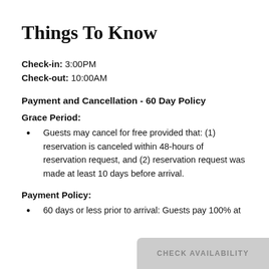Things To Know
Check-in: 3:00PM
Check-out: 10:00AM
Payment and Cancellation - 60 Day Policy
Grace Period:
Guests may cancel for free provided that: (1) reservation is canceled within 48-hours of reservation request, and (2) reservation request was made at least 10 days before arrival.
Payment Policy:
60 days or less prior to arrival: Guests pay 100% at